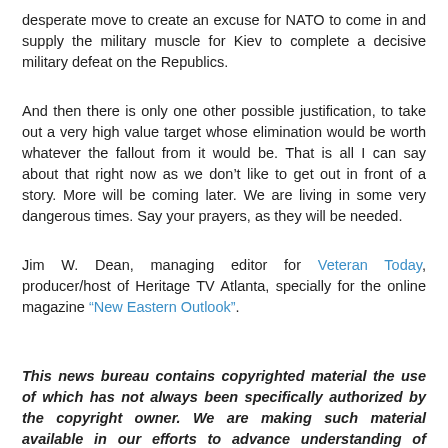desperate move to create an excuse for NATO to come in and supply the military muscle for Kiev to complete a decisive military defeat on the Republics.
And then there is only one other possible justification, to take out a very high value target whose elimination would be worth whatever the fallout from it would be. That is all I can say about that right now as we don’t like to get out in front of a story. More will be coming later. We are living in some very dangerous times. Say your prayers, as they will be needed.
Jim W. Dean, managing editor for Veteran Today, producer/host of Heritage TV Atlanta, specially for the online magazine “New Eastern Outlook”.
This news bureau contains copyrighted material the use of which has not always been specifically authorized by the copyright owner. We are making such material available in our efforts to advance understanding of environmental, political, human rights, economic, democracy, scientific, and social justice issues. We